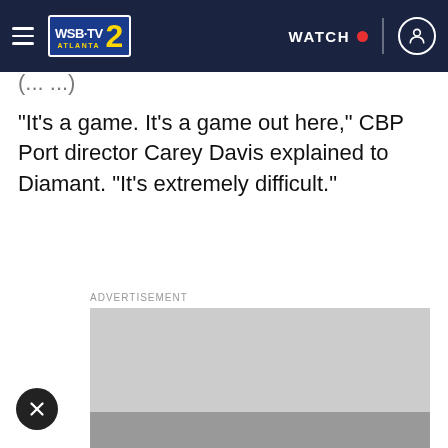WSB-TV Atlanta 2 | WATCH
"It’s a game. It’s a game out here," CBP Port director Carey Davis explained to Diamant. "It’s extremely difficult."
ADVERTISEMENT
[Figure (other): Gray advertisement placeholder box with a gray bar at the bottom and a close (X) button at the lower left.]